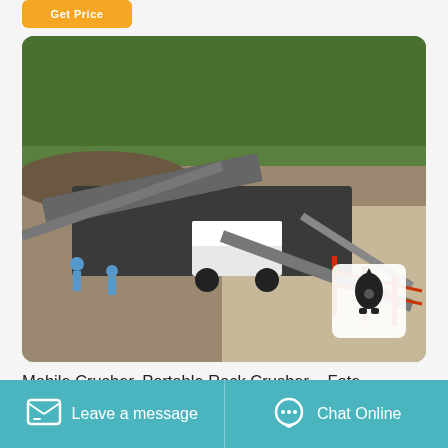[Figure (illustration): Orange button at top left corner of the page]
[Figure (photo): Aerial/elevated view of a mobile rock crusher portable crushing plant at a quarry site with workers, conveyor belts, heavy machinery, surrounded by green trees and gravel/rock piles. A small notification icon overlay appears in the bottom-right corner of the photo.]
Mobile Crusher, Portable Rock Crusher – Fote
[Figure (infographic): Bottom navigation bar with teal/turquoise background. Left half: message icon with text 'Leave a message'. Right half: chat support icon with text 'Chat Online'.]